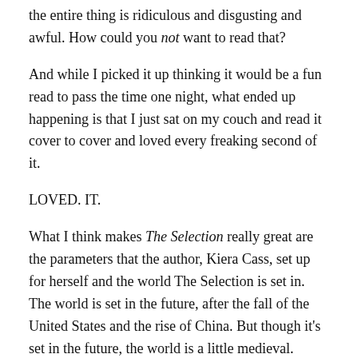the entire thing is ridiculous and disgusting and awful. How could you not want to read that?
And while I picked it up thinking it would be a fun read to pass the time one night, what ended up happening is that I just sat on my couch and read it cover to cover and loved every freaking second of it.
LOVED. IT.
What I think makes The Selection really great are the parameters that the author, Kiera Cass, set up for herself and the world The Selection is set in. The world is set in the future, after the fall of the United States and the rise of China. But though it's set in the future, the world is a little medieval. There are caste systems that people are born into and can only really marry out of, there is a monarchy, and there are no history books. None.